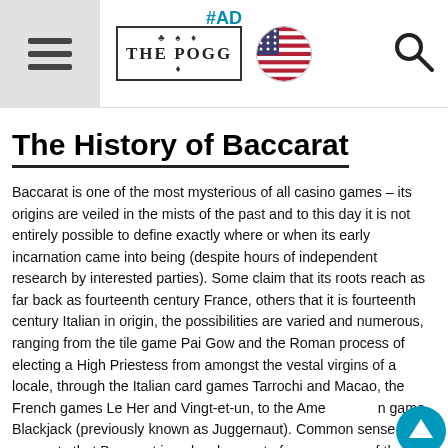#AD | THE POGG [logo] [US flag] [search icon]
The History of Baccarat
Baccarat is one of the most mysterious of all casino games – its origins are veiled in the mists of the past and to this day it is not entirely possible to define exactly where or when its early incarnation came into being (despite hours of independent research by interested parties). Some claim that its roots reach as far back as fourteenth century France, others that it is fourteenth century Italian in origin, the possibilities are varied and numerous, ranging from the tile game Pai Gow and the Roman process of electing a High Priestess from amongst the vestal virgins of a locale, through the Italian card games Tarrochi and Macao, the French games Le Her and Vingt-et-un, to the American game Blackjack (previously known as Juggernaut). Common sense suggests that Baccarat is a development of one or more of these